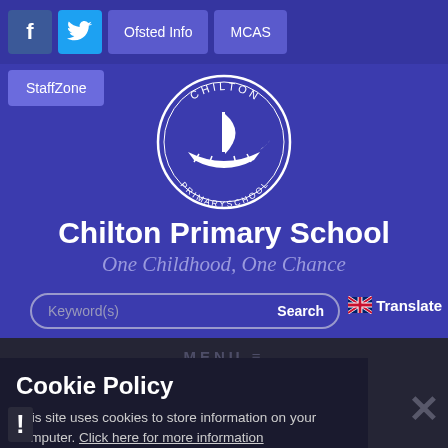[Figure (screenshot): School website header with Facebook, Twitter, Ofsted Info, MCAS, StaffZone navigation buttons on a dark blue background]
[Figure (logo): Chilton Primary School circular logo with a Viking ship, text CHILTON PRIMARY SCHOOL around the border]
Chilton Primary School
One Childhood, One Chance
Keyword(s)  Search  Translate
Cookie Policy
This site uses cookies to store information on your computer. Click here for more information
Allow Cookies   Deny Cookies